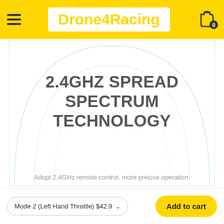Drone4Racing
[Figure (illustration): Product image showing a large arch/dome shape outline in light teal/cyan on white background, with bold text '2.4GHZ SPREAD SPECTRUM TECHNOLOGY' and subtitle 'Adopt 2.4GHz remote control. more precise operation.']
Mode 2 (Left Hand Throttle) $42.9
Add to cart